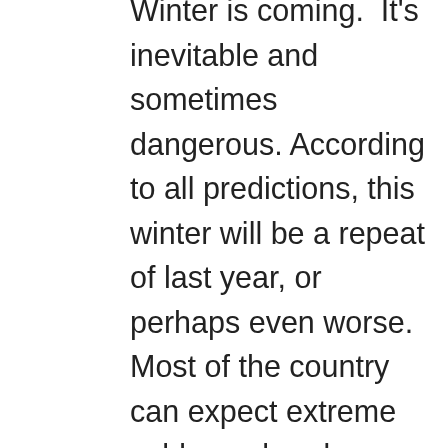Winter is coming.  It's inevitable and sometimes dangerous. According to all predictions, this winter will be a repeat of last year, or perhaps even worse.  Most of the country can expect extreme cold, an abundance of snow, and a longer-than-normal winter. It may be early in the season, but that first storm of the year can sneak up on you. Now is the time to double check your preparations and be certain that you are ready for anything, well before the first snowflake falls.

Many of us spend far more of our